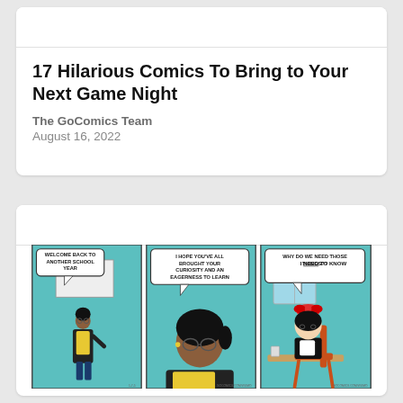17 Hilarious Comics To Bring to Your Next Game Night
The GoComics Team
August 16, 2022
[Figure (illustration): A three-panel comic strip. Panel 1: A teacher standing at a whiteboard says 'WELCOME BACK TO ANOTHER SCHOOL YEAR'. Panel 2: Closer view of the teacher saying 'I HOPE YOU'VE ALL BROUGHT YOUR CURIOSITY AND AN EAGERNESS TO LEARN'. Panel 3: A young student sitting at a desk says 'WHY DO WE NEED THOSE THINGS?? I NEED TO KNOW'.]